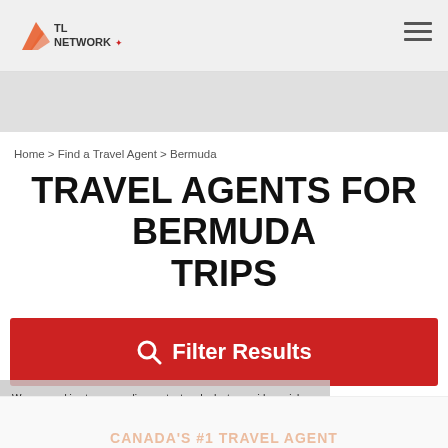TL NETWORK
Home > Find a Travel Agent > Bermuda
TRAVEL AGENTS FOR BERMUDA TRIPS
Filter Results
ACTIVE FILTERS:
We use cookies to personalize content and ads, to provide social media features and to analyze our traffic. We also share information about your use of our site with our social media, advertising and
× DESTINATION: Bermuda
Accept and Close ✕
Your browser settings do not allow cross-site tracking for advertising. Click on this page to allow AdRoll to use cross-site tracking to tailor ads to you. Learn more or opt out of this AdRoll tracking by clicking here. This message only appears once.